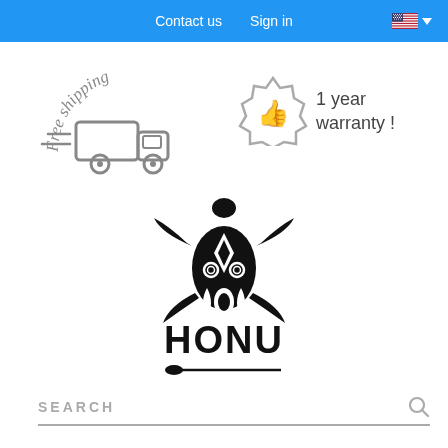Contact us   Sign in
[Figure (illustration): Free shipping icon with truck and curved text 'Free shipping']
[Figure (illustration): 1 year warranty badge with thumbs up icon and text '1 year warranty !']
[Figure (logo): HONU brand logo featuring a decorative tribal sea turtle above bold letters spelling HONU with a paddle beneath]
SEARCH